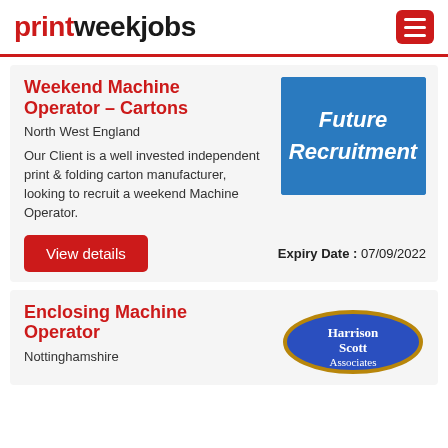printweekjobs
Weekend Machine Operator – Cartons
North West England
Our Client is a well invested independent print & folding carton manufacturer, looking to recruit a weekend Machine Operator.
[Figure (logo): Future Recruitment blue logo with white italic bold text]
Expiry Date : 07/09/2022
Enclosing Machine Operator
Nottinghamshire
[Figure (logo): Harrison Scott Associates oval blue logo with gold border]